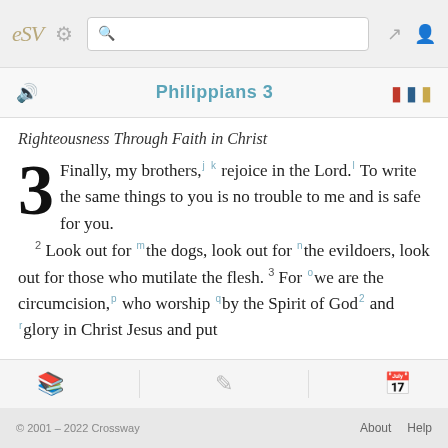ESV | Settings | Search | Expand | Profile
Philippians 3
Righteousness Through Faith in Christ
3 Finally, my brothers, rejoice in the Lord. To write the same things to you is no trouble to me and is safe for you. 2 Look out for the dogs, look out for the evildoers, look out for those who mutilate the flesh. 3 For we are the circumcision, who worship by the Spirit of God and glory in Christ Jesus and put
© 2001 – 2022 Crossway   About   Help